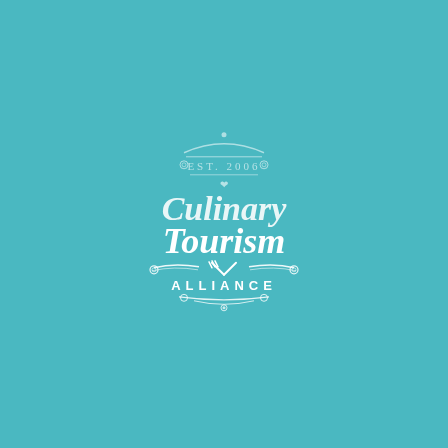[Figure (logo): Culinary Tourism Alliance logo. Badge-style emblem with 'EST. 2006' at top in light teal, a small heart/bird icon, script text 'Culinary' in white, script text 'Tourism' in white and larger, crossed fork and knife utensils, decorative scroll banner reading 'ALLIANCE' in white spaced letters, and ornamental flourishes. All on a teal/turquoise background.]